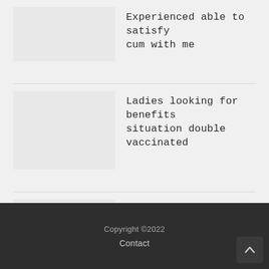Experienced able to satisfy cum with me
Ladies looking for benefits situation double vaccinated
Cougar looking for cub to play talk dirty to me
Copyright ©2022
Contact